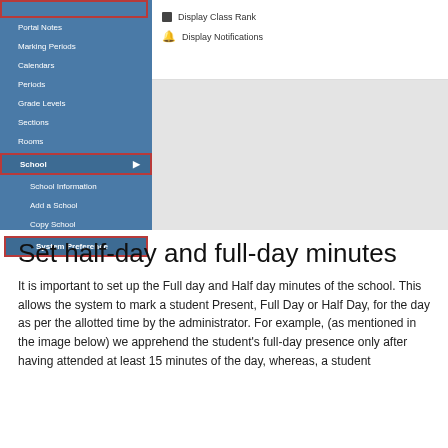[Figure (screenshot): Screenshot of a school management system navigation sidebar with items: Portal Notes, Marking Periods, Calendars, Periods, Grade Levels, Sections, Rooms, School (highlighted with red border and submenu arrow), School Information, Add a School, Copy School, System Preference (highlighted with red border). The right panel shows two items: Display Class Rank and Display Notifications, followed by a grey content area.]
Set half-day and full-day minutes
It is important to set up the Full day and Half day minutes of the school. This allows the system to mark a student Present, Full Day or Half Day, for the day as per the allotted time by the administrator. For example, (as mentioned in the image below) we apprehend the student's full-day presence only after having attended at least 15 minutes of the day, whereas, a student